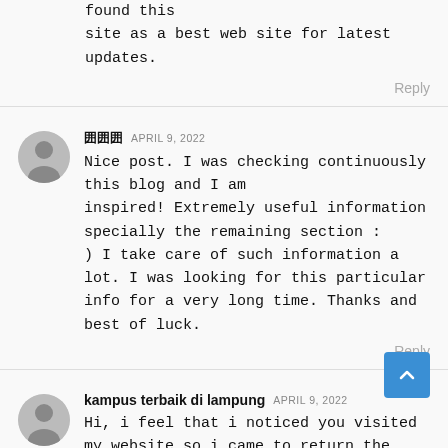found this site as a best web site for latest updates.
Reply
囲囲囲  APRIL 9, 2022
Nice post. I was checking continuously this blog and I am inspired! Extremely useful information specially the remaining section : ) I take care of such information a lot. I was looking for this particular info for a very long time. Thanks and best of luck.
Reply
kampus terbaik di lampung  APRIL 9, 2022
Hi, i feel that i noticed you visited my website so i came to return the choose?.I attempting to find issues to enhance my website!!